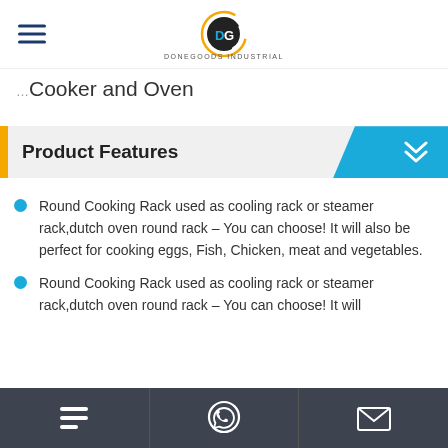DONEGOODS INDUSTRIAL logo header
Cooker and Oven
Product Features
Round Cooking Rack used as cooling rack or steamer rack,dutch oven round rack – You can choose! It will also be perfect for cooking eggs, Fish, Chicken, meat and vegetables.
Round Cooking Rack used as cooling rack or steamer rack,dutch oven round rack – You can choose! It will
Navigation bar with menu, WhatsApp, and email icons